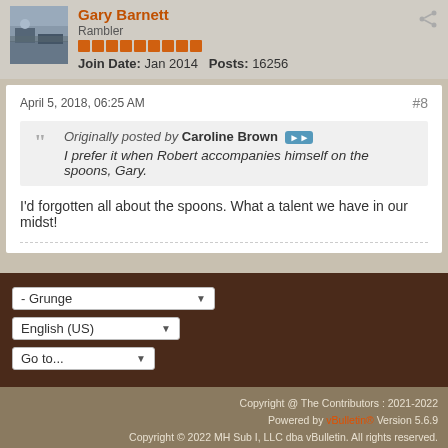Gary Barnett
Rambler
Join Date: Jan 2014  Posts: 16256
April 5, 2018, 06:25 AM  #8
Originally posted by Caroline Brown
I prefer it when Robert accompanies himself on the spoons, Gary.
I'd forgotten all about the spoons. What a talent we have in our midst!
- Grunge
English (US)
Go to...
Copyright @ The Contributors : 2021-2022
Powered by vBulletin® Version 5.6.9
Copyright © 2022 MH Sub I, LLC dba vBulletin. All rights reserved.
All times are GMT-5. This page was generated at 11:45 PM.